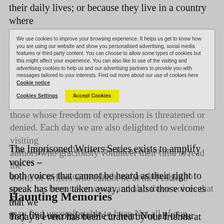their daily lives; or because they live in a country where their rights are oppressed.
These events, known as the Imprisoned Writers Series, seek to challenge, move and inspire by sharing writing by those whose freedom of expression is threatened or denied. Each day we are also delighted to welcome visiting authors who graciously volunteer their time to read the words of writers who cannot be at the Festival.
We use cookies to improve your browsing experience. It helps us get to know how you are using our website and show you personalised advertising, social media features or third party content. You can choose to allow some types of cookies but this might affect your experience. You can also like to use of the visiting and advertising cookies to help us and our advertising partners to provide you with messages tailored to your interests. Find out more about our use of cookies here Cookie notice
The Imprisoned Writers Series exists to amplify voices – both voices that cannot be heard as their right to speak has been taken away, and also those voices that we may find uncomfortable to hear. Not all of our authors have experienced detention, but they have all had their rights challenged, and have all fought to claim their rights.
Haunting Memories
Today's event has been curated by our friends at Freedom